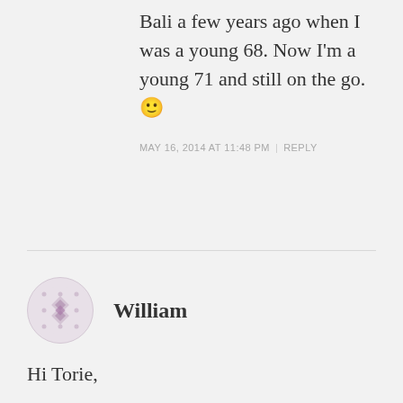Bali a few years ago when I was a young 68. Now I'm a young 71 and still on the go. 🙂
MAY 16, 2014 AT 11:48 PM | REPLY
William
Hi Torie,

I made this curry yesterday. For the chicken I used only thighs (on the